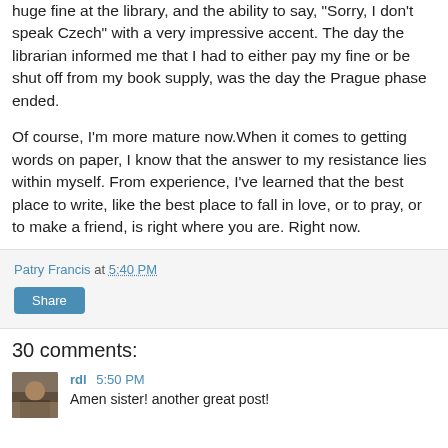huge fine at the library, and the ability to say, "Sorry, I don't speak Czech" with a very impressive accent. The day the librarian informed me that I had to either pay my fine or be shut off from my book supply, was the day the Prague phase ended.
Of course, I'm more mature now.When it comes to getting words on paper, I know that the answer to my resistance lies within myself. From experience, I've learned that the best place to write, like the best place to fall in love, or to pray, or to make a friend, is right where you are. Right now.
Patry Francis at 5:40 PM
Share
30 comments:
rdl 5:50 PM
Amen sister! another great post!